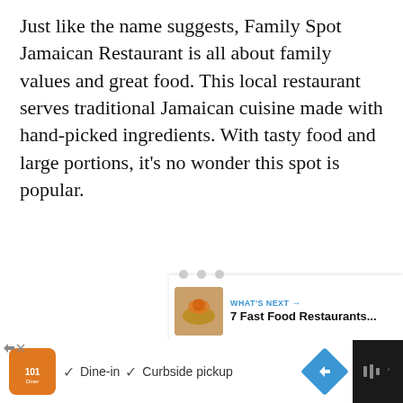Just like the name suggests, Family Spot Jamaican Restaurant is all about family values and great food. This local restaurant serves traditional Jamaican cuisine made with hand-picked ingredients. With tasty food and large portions, it's no wonder this spot is popular.
[Figure (photo): Image area with UI overlay: heart (favorite) button in blue circle, share button in white circle, 'What's Next' card showing food thumbnail and text '7 Fast Food Restaurants...', three navigation dots below]
[Figure (screenshot): Advertisement bar at bottom: orange restaurant icon, checkmarks for Dine-in and Curbside pickup, blue diamond navigation arrow, dark right panel with TV/streaming logo]